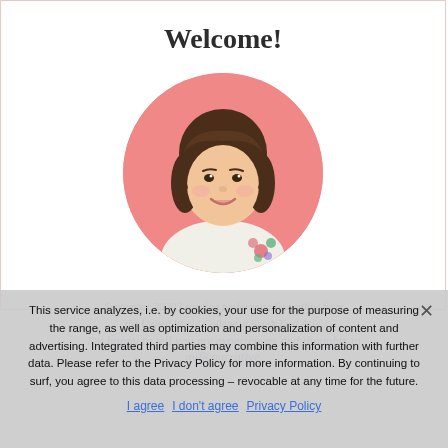Welcome!
[Figure (photo): Circular cropped portrait photo of a smiling young woman with curly brown hair, wearing a white top with floral embroidery, set against a pink circular background.]
This service analyzes, i.e. by cookies, your use for the purpose of measuring the range, as well as optimization and personalization of content and advertising. Integrated third parties may combine this information with further data. Please refer to the Privacy Policy for more information. By continuing to surf, you agree to this data processing – revocable at any time for the future.
I agree   I don't agree   Privacy Policy